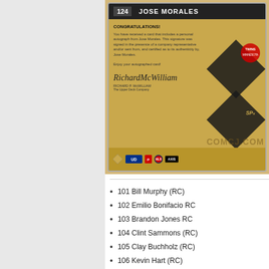[Figure (photo): Back of a Jose Morales Upper Deck SPx baseball card #124 with congratulations autograph text, signature of Richard P. McWilliam, Minnesota Twins logo, SPx logo, and Upper Deck logos. Watermark 'COMCJ.COM' visible.]
101 Bill Murphy (RC)
102 Emilio Bonifacio RC
103 Brandon Jones RC
104 Clint Sammons (RC)
105 Clay Buchholz (RC)
106 Kevin Hart (RC)